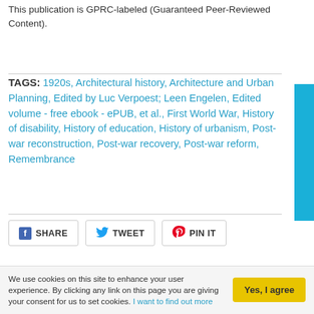This publication is GPRC-labeled (Guaranteed Peer-Reviewed Content).
TAGS: 1920s, Architectural history, Architecture and Urban Planning, Edited by Luc Verpoest; Leen Engelen, Edited volume - free ebook - ePUB, et al., First World War, History of disability, History of education, History of urbanism, Post-war reconstruction, Post-war recovery, Post-war reform, Remembrance
[Figure (other): Social sharing buttons: Facebook SHARE, Twitter TWEET, Pinterest PIN IT]
← BACK TO SUBJECT__MUSEUM-AND-HERITAGE-STUDIES
RELATED BOOKS
We use cookies on this site to enhance your user experience. By clicking any link on this page you are giving your consent for us to set cookies. I want to find out more